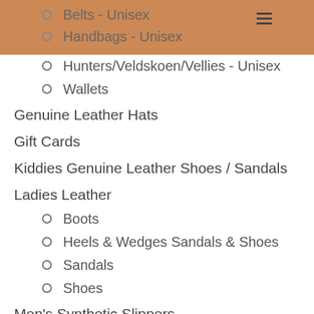Belts - Unisex
Handbags - Unisex
Hunters/Veldskoen/Vellies - Unisex
Wallets
Genuine Leather Hats
Gift Cards
Kiddies Genuine Leather Shoes / Sandals
Ladies Leather
Boots
Heels & Wedges Sandals & Shoes
Sandals
Shoes
Men's Synthetic Slippers
Men's Leather
Boat Shoes
Boots
Casual Shoes
Formal Shoes
Sandals